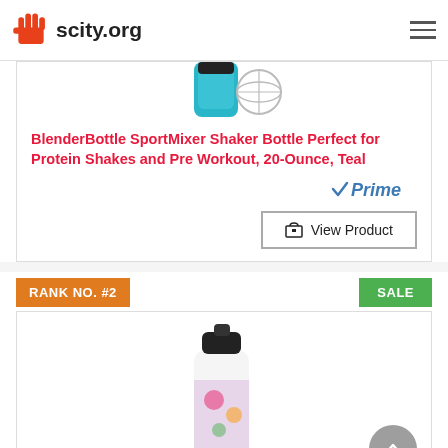scity.org
[Figure (photo): Partial view of a teal BlenderBottle SportMixer shaker bottle with wire whisk ball]
BlenderBottle SportMixer Shaker Bottle Perfect for Protein Shakes and Pre Workout, 20-Ounce, Teal
[Figure (logo): Amazon Prime logo]
View Product
RANK NO. #2
SALE
[Figure (photo): A personal blender bottle with floral/graphic design, teal and black colors]